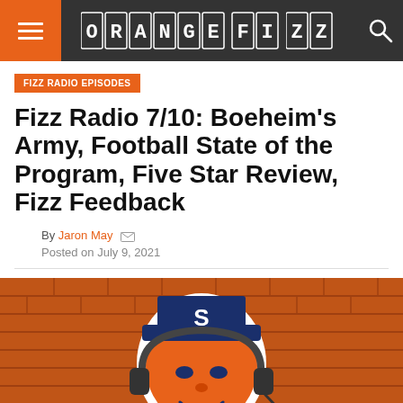ORANGE FIZZ
FIZZ RADIO EPISODES
Fizz Radio 7/10: Boeheim's Army, Football State of the Program, Five Star Review, Fizz Feedback
By Jaron May
Posted on July 9, 2021
[Figure (photo): Orange Fizz podcast image featuring the Syracuse Otto mascot logo with headphones over a brick wall background in orange and blue colors]